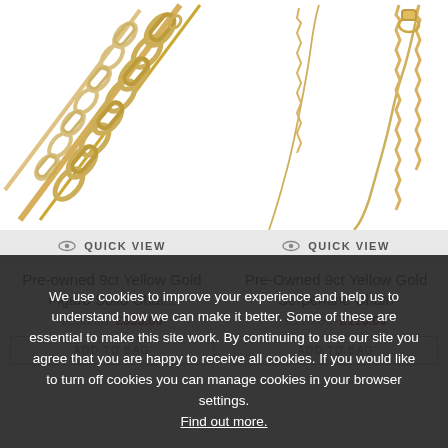[Figure (photo): Pre-owned 9ct Yellow Gold Figaro Solid Chain necklace product photo on white background]
[Figure (photo): Pre-owned 9ct Yellow Gold Serpentine Chain necklace product photo on white background]
QUICK VIEW
QUICK VIEW
Pre-owned 9ct Yellow Gold Figaro Solid Chai...
Pre-Owned 9ct Yellow Gold Serpentine Chain
£355.00 (sale price)
£110.00 (sale price)
ADD TO BAG
ADD TO BAG
We use cookies to improve your experience and help us to understand how we can make it better. Some of these are essential to make this site work. By continuing to use our site you agree that you are happy to receive all cookies. If you would like to turn off cookies you can manage cookies in your browser settings. Find out more.
CONTINUE SHOPPING